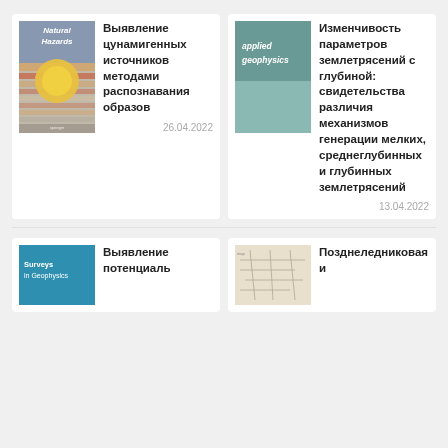[Figure (illustration): Cover of journal 'Natural Hazards' with yellow sun graphic and striped pattern]
Выявление цунамигенных источников методами распознавания образов
26.04.2022
[Figure (illustration): Cover of journal 'applied geophysics' with teal/grey color]
Изменчивость параметров землетрясений с глубиной: свидетельства различия механизмов генерации мелких, среднеглубинных и глубинных землетрясений
13.04.2022
[Figure (illustration): Cover of journal 'Surveys in Geophysics' with blue color]
Выявление потенциаль
[Figure (map): Map image showing geographic area]
Позднеледниковая и